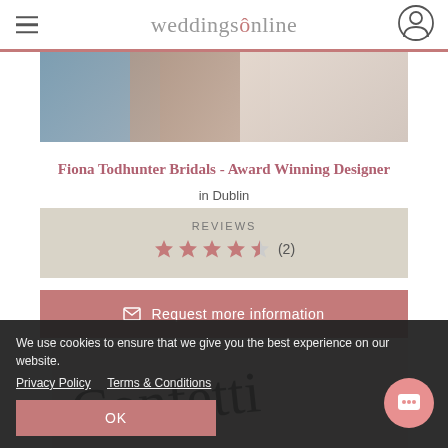weddingsonline
[Figure (photo): Bridal scene with women in blue and pink dresses handling fabric]
Fiona Todhunter Bridals - Award Winning Designer
in Dublin
REVIEWS ★★★★½ (2)
✉ Request more information
[Figure (logo): Confetti & Co cursive script logo]
We use cookies to ensure that we give you the best experience on our website.
Privacy Policy   Terms & Conditions
OK